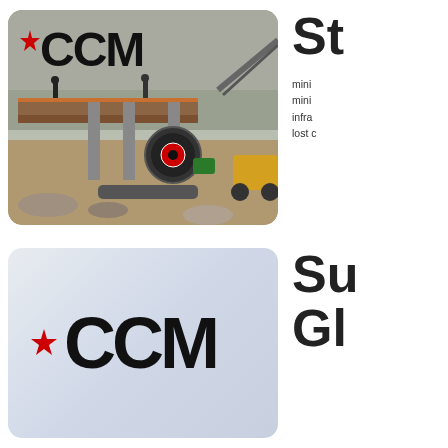[Figure (photo): Mining/quarry site with heavy machinery including jaw crusher and conveyor belt equipment, rocky terrain, workers visible. CCM logo overlaid in top-left corner.]
St

mini
mini
infra
lost c
[Figure (logo): CCM logo with red star on light blue/grey gradient background]
Su
Gl